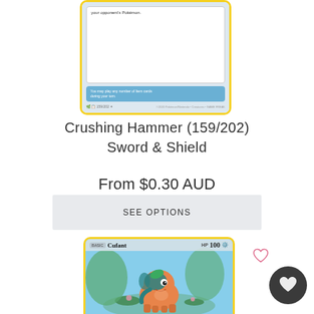[Figure (photo): Partial view of a Pokémon TCG Crushing Hammer trainer card (159/202) from Sword & Shield set, showing card text and blue banner at bottom]
Crushing Hammer (159/202) Sword & Shield
From $0.30 AUD
SEE OPTIONS
[Figure (photo): Pokémon TCG Cufant card showing the orange elephant Pokémon with teal-colored trunk and leaf, standing in a lush green and blue wetland scene. Shows 100 HP. Partial card view.]